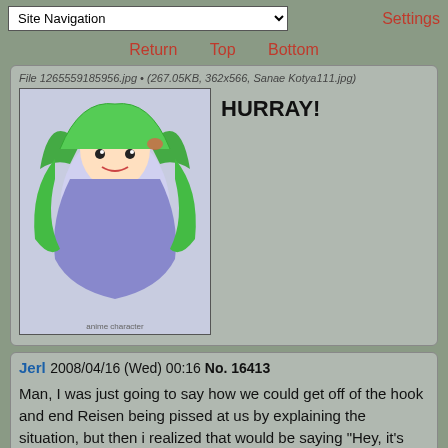Site Navigation | Settings | Return | Top | Bottom
File 1265559185956.jpg • (267.05KB, 362x566, Sanae Kotya111.jpg)
[Figure (illustration): Anime character with green hair and purple outfit, appears to be Sanae from Touhou]
HURRAY!
Jerl 2008/04/16 (Wed) 00:16 No. 16413
Man, I was just going to say how we could get off of the hook and end Reisen being pissed at us by explaining the situation, but then i realized that would be saying "Hey, it's totally not my fault! I thought I was gonna get LAID! Can't help that!" or something to that effect.
God damnit, we fucked up bad.
Anonymous 2008/04/16 (Wed) 00:17 No. 16414